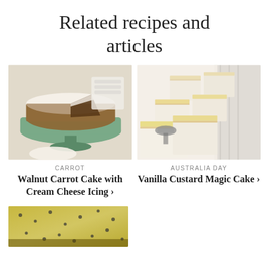Related recipes and articles
[Figure (photo): Walnut carrot cake with cream cheese icing on a green cake stand, with a slice removed]
CARROT
Walnut Carrot Cake with Cream Cheese Icing ›
[Figure (photo): Vanilla custard magic cake squares dusted with powdered sugar on a white surface]
AUSTRALIA DAY
Vanilla Custard Magic Cake ›
[Figure (photo): Partial view of a yellow custard or cream cake with dark spots/seeds on top]